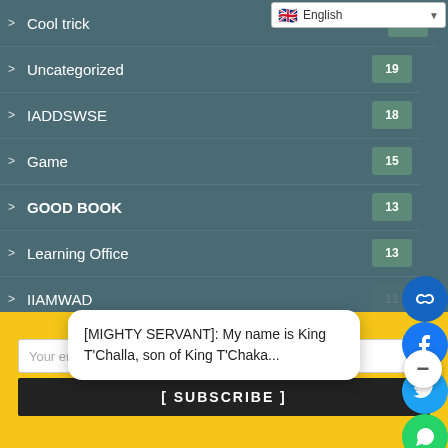> Cool trick  19
> Uncategorized  19
> IADDSWSE  18
> Game  15
> GOOD BOOK  13
> Learning Office  13
> IIAMWAD  11
> Blockchain  11
> Self-taught Photoshop  0
> Math  0
> Finance
THO...
Your email a...
[ SUBSCRIBE ]
[MIGHTY SERVANT]: My name is King T'Challa, son of King T'Chaka...